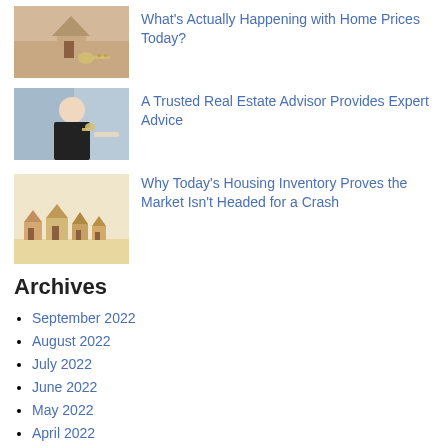[Figure (photo): Thumbnail image of house model with keys on a wooden surface]
What’s Actually Happening with Home Prices Today?
[Figure (photo): Thumbnail image of a smiling real estate agent handing over keys]
A Trusted Real Estate Advisor Provides Expert Advice
[Figure (photo): Thumbnail image of small model houses on a beige surface]
Why Today’s Housing Inventory Proves the Market Isn’t Headed for a Crash
Archives
September 2022
August 2022
July 2022
June 2022
May 2022
April 2022
March 2022
February 2022